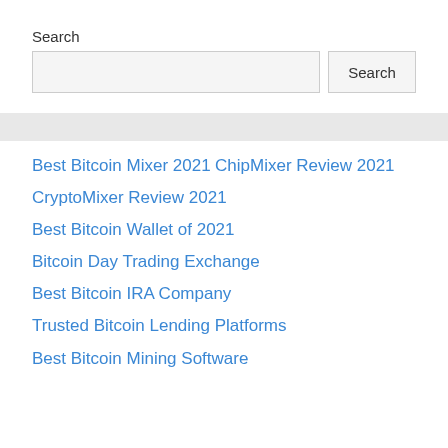Search
[Search input box and Search button]
Best Bitcoin Mixer 2021
ChipMixer Review 2021
CryptoMixer Review 2021
Best Bitcoin Wallet of 2021
Bitcoin Day Trading Exchange
Best Bitcoin IRA Company
Trusted Bitcoin Lending Platforms
Best Bitcoin Mining Software